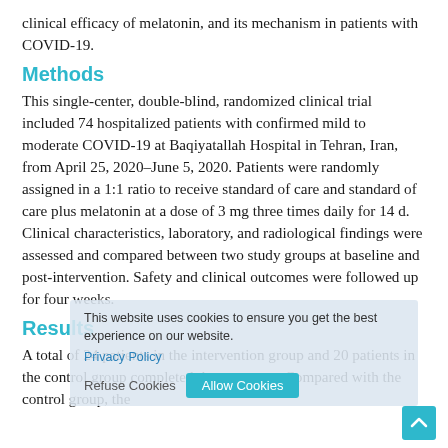clinical efficacy of melatonin, and its mechanism in patients with COVID-19.
Methods
This single-center, double-blind, randomized clinical trial included 74 hospitalized patients with confirmed mild to moderate COVID-19 at Baqiyatallah Hospital in Tehran, Iran, from April 25, 2020–June 5, 2020. Patients were randomly assigned in a 1:1 ratio to receive standard of care and standard of care plus melatonin at a dose of 3 mg three times daily for 14 d. Clinical characteristics, laboratory, and radiological findings were assessed and compared between two study groups at baseline and post-intervention. Safety and clinical outcomes were followed up for four weeks.
Results
A total of 24 patients in the intervention group and 20 patients in the control group completed the treatment. Compared with the control group, the